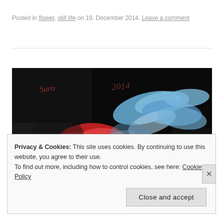Posted in flower, still life on 19. December 2014. Leave a comment
[Figure (photo): Close-up painting of red and blue flowers against a dark background, with a signature and '2014' written in red at the top left area]
Privacy & Cookies: This site uses cookies. By continuing to use this website, you agree to their use.
To find out more, including how to control cookies, see here: Cookie Policy
Close and accept